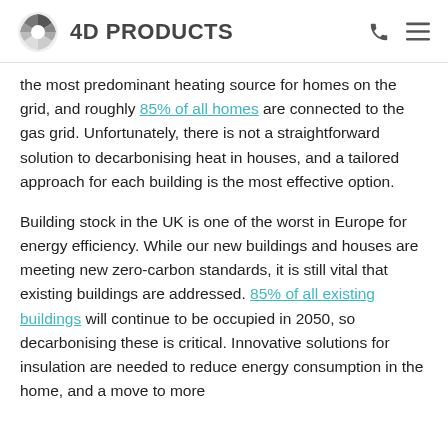4D PRODUCTS
the most predominant heating source for homes on the grid, and roughly 85% of all homes are connected to the gas grid. Unfortunately, there is not a straightforward solution to decarbonising heat in houses, and a tailored approach for each building is the most effective option.
Building stock in the UK is one of the worst in Europe for energy efficiency. While our new buildings and houses are meeting new zero-carbon standards, it is still vital that existing buildings are addressed. 85% of all existing buildings will continue to be occupied in 2050, so decarbonising these is critical. Innovative solutions for insulation are needed to reduce energy consumption in the home, and a move to more